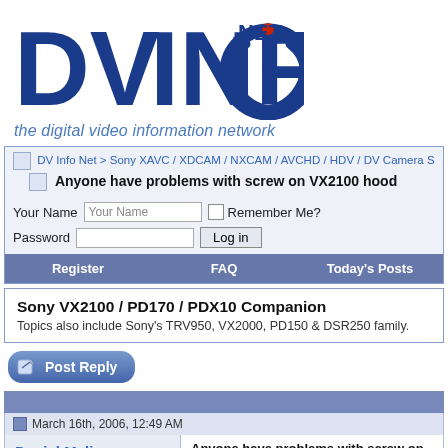[Figure (logo): DVInfo.Net logo — large bold blue text 'DVINFO.' with a power-button icon as the 'O' dot in red, and '.NET' in smaller blue text top right]
the digital video information network
DV Info Net > Sony XAVC / XDCAM / NXCAM / AVCHD / HDV / DV Camera S
Anyone have problems with screw on VX2100 hood
Your Name  [input]  Remember Me?  Password [input] Log in
Register   FAQ   Today's Posts
Sony VX2100 / PD170 / PDX10 Companion
Topics also include Sony's TRV950, VX2000, PD150 & DSR250 family.
[Figure (other): Post Reply button — blue rounded pill button with paper/pencil icon]
March 16th, 2006, 12:49 AM
Daniel Melius
New Boot
Anyone have problems with screw on VX
Hi,